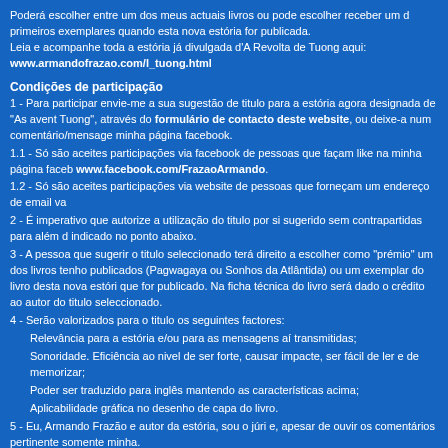Poderá escolher entre um dos meus actuais livros ou pode escolher receber um dos primeiros exemplares quando esta nova estória for publicada.
Leia e acompanhe toda a estória já divulgada d'A Revolta de Tuong aqui:
www.armandofrazao.com/l_tuong.html
Condições de participação
1 - Para participar envie-me a sua sugestão de titulo para a estória agora designada de "As avent Tuong", através do formulário de contacto deste website, ou deixe-a num comentário/mensage minha página facebook.
1.1 - Só são aceites participações via facebook de pessoas que façam like na minha página faceb www.facebook.com/FrazaoArmando.
1.2 - Só são aceites participações via website de pessoas que forneçam um endereço de email va
2 - É imperativo que autorize a utilização do titulo por si sugerido sem contrapartidas para além d indicado no ponto abaixo.
3 - A pessoa que sugerir o titulo seleccionado terá direito a escolher como "prémio" um dos livros tenho publicados (Pagwagaya ou Sonhos da Atlântida) ou um exemplar do livro desta nova estóri que for publicado. Na ficha técnica do livro será dado o crédito ao autor do titulo seleccionado.
4 - Serão valorizados para o titulo os seguintes factores:
Relevância para a estória e/ou para as mensagens aí transmitidas;
Sonoridade. Eficiência ao nivel de ser forte, causar impacte, ser fácil de ler e de memorizar;
Poder ser traduzido para inglês mantendo as características acima;
Aplicabilidade gráfica no desenho de capa do livro.
5 - Eu, Armando Frazão e autor da estória, sou o júri e, apesar de ouvir os comentários pertinente somente minha.
6 - Se nenhum dos titulos sugeridos for de meu agrado reservo-me o direito de não atribuir qualq que eu decida avançar para publicação.
8 - Poderei alterar estas condições para esclarecer algum ponto ou alterar/acrescantar alguma sit necessária.
-----
GIVEAWAY DEAD LINE IS OVER
That's right! Give a great Title and I'll offer you a book!
The book I'm writing was born of a dream, a dream in a scientific fiction context. T
Obviously this title stopped makin sense as soon as the story grew beyond the ini
Then I called it "Tuong's Rebellion".